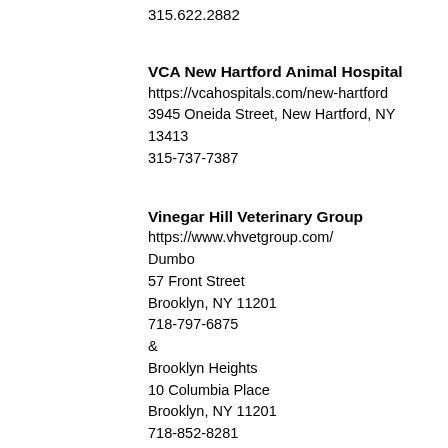315.622.2882
VCA New Hartford Animal Hospital
https://vcahospitals.com/new-hartford
3945 Oneida Street, New Hartford, NY 13413
315-737-7387
Vinegar Hill Veterinary Group
https://www.vhvetgroup.com/
Dumbo
57 Front Street
Brooklyn, NY 11201
718-797-6875
&
Brooklyn Heights
10 Columbia Place
Brooklyn, NY 11201
718-852-8281
The Center for Avian & Exotic Medicine